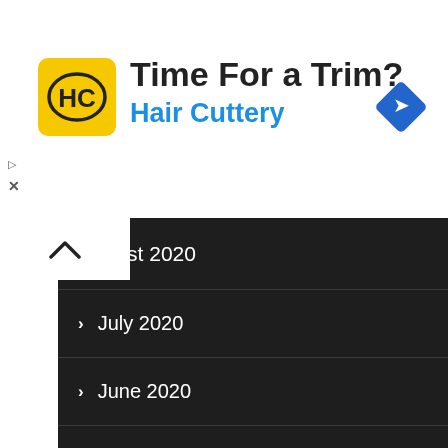[Figure (screenshot): Hair Cuttery advertisement banner with yellow logo, title 'Time For a Trim?' and blue subtitle 'Hair Cuttery', plus a blue diamond navigation icon on the right]
August 2020
July 2020
June 2020
May 2020
April 2020
March 2020
February 2020
January 2020
December 2019